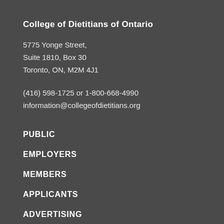College of Dietitians of Ontario
5775 Yonge Street,
Suite 1810, Box 30
Toronto, ON, M2M 4J1
(416) 598-1725 or 1-800-668-4990
information@collegeofdietitians.org
PUBLIC
EMPLOYERS
MEMBERS
APPLICANTS
ADVERTISING
POLICY FOR EXTERNAL